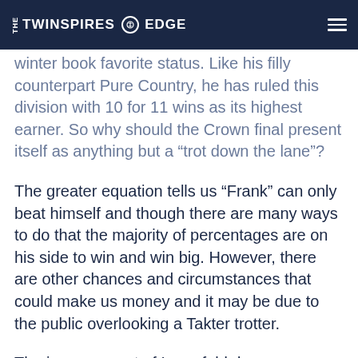THE TWINSPIRES EDGE
winter book favorite status. Like his filly counterpart Pure Country, he has ruled this division with 10 for 11 wins as its highest earner. So why should the Crown final present itself as anything but a “trot down the lane”?
The greater equation tells us “Frank” can only beat himself and though there are many ways to do that the majority of percentages are on his side to win and win big. However, there are other chances and circumstances that could make us money and it may be due to the public overlooking a Takter trotter.
The improvement of Lagerfeld deserves significant attention and with a bit of luck the